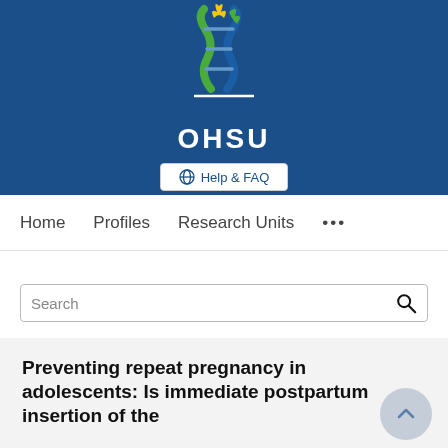[Figure (logo): OHSU (Oregon Health & Science University) logo with DNA helix and flame design on blue background, with Help & FAQ button]
Home   Profiles   Research Units   ...
Search
Preventing repeat pregnancy in adolescents: Is immediate postpartum insertion of the